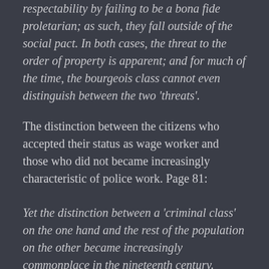respectability by failing to be a bona fide proletarian; as such, they fall outside of the social pact. In both cases, the threat to the order of property is apparent; and for much of the time, the bourgeois class cannot even distinguish between the two 'threats'.
The distinction between the citizens who accepted their status as wage worker and those who did not became increasingly characteristic of police work. Page 81:
Yet the distinction between a 'criminal class' on the one hand and the rest of the population on the other became increasingly commonplace in the nineteenth century. Indeed, the distinction as it developed focused almost entirely on separating the 'criminal class' out from the 'poor but respectable' working